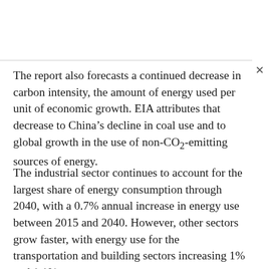The report also forecasts a continued decrease in carbon intensity, the amount of energy used per unit of economic growth. EIA attributes that decrease to China’s decline in coal use and to global growth in the use of non-CO₂-emitting sources of energy.
The industrial sector continues to account for the largest share of energy consumption through 2040, with a 0.7% annual increase in energy use between 2015 and 2040. However, other sectors grow faster, with energy use for the transportation and building sectors increasing 1% and 1.1%